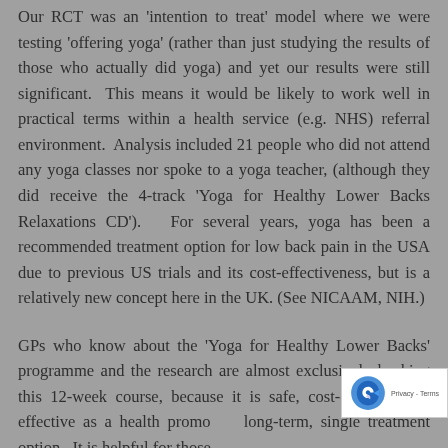Our RCT was an 'intention to treat' model where we were testing 'offering yoga' (rather than just studying the results of those who actually did yoga) and yet our results were still significant. This means it would be likely to work well in practical terms within a health service (e.g. NHS) referral environment. Analysis included 21 people who did not attend any yoga classes nor spoke to a yoga teacher, (although they did receive the 4-track 'Yoga for Healthy Lower Backs Relaxations CD'). For several years, yoga has been a recommended treatment option for low back pain in the USA due to previous US trials and its cost-effectiveness, but is a relatively new concept here in the UK. (See NICAAM, NIH.)
GPs who know about the 'Yoga for Healthy Lower Backs' programme and the research are almost exclusively backing this 12-week course, because it is safe, cost-effective and effective as a health promotion long-term, single treatment option. It is helpful for those